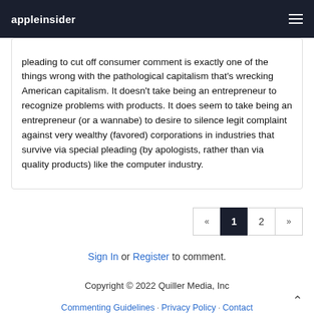appleinsider
pleading to cut off consumer comment is exactly one of the things wrong with the pathological capitalism that's wrecking American capitalism. It doesn't take being an entrepreneur to recognize problems with products. It does seem to take being an entrepreneur (or a wannabe) to desire to silence legit complaint against very wealthy (favored) corporations in industries that survive via special pleading (by apologists, rather than via quality products) like the computer industry.
« 1 2 »
Sign In or Register to comment.
Copyright © 2022 Quiller Media, Inc
Commenting Guidelines · Privacy Policy · Contact